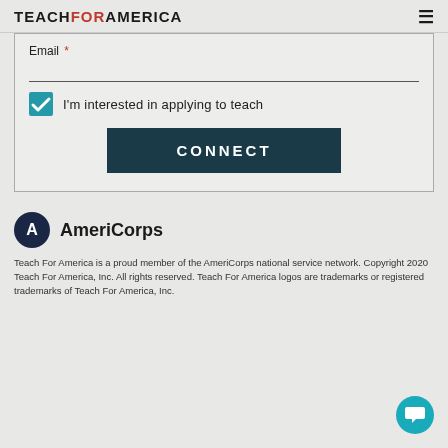TEACH FOR AMERICA
Email *
I'm interested in applying to teach
CONNECT
[Figure (logo): AmeriCorps logo with circular emblem and AmeriCorps text]
Teach For America is a proud member of the AmeriCorps national service network. Copyright 2020 Teach For America, Inc. All rights reserved. Teach For America logos are trademarks or registered trademarks of Teach For America, Inc.